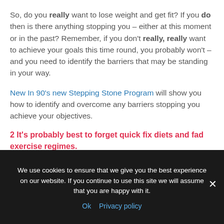So, do you really want to lose weight and get fit? If you do then is there anything stopping you – either at this moment or in the past? Remember, if you don't really, really want to achieve your goals this time round, you probably won't – and you need to identify the barriers that may be standing in your way.
New In 90's new Stepping Stone Program will show you how to identify and overcome any barriers stopping you achieve your objectives.
2 It's probably best to forget quick fix diets and fad exercise regimes.
We use cookies to ensure that we give you the best experience on our website. If you continue to use this site we will assume that you are happy with it.
Ok  Privacy policy